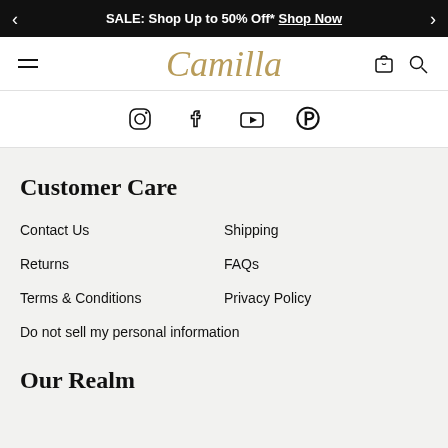SALE: Shop Up to 50% Off* Shop Now
[Figure (screenshot): Camilla brand logo in gold italic script]
[Figure (infographic): Social media icons: Instagram, Facebook, YouTube, Pinterest]
Customer Care
Contact Us
Shipping
Returns
FAQs
Terms & Conditions
Privacy Policy
Do not sell my personal information
Our Realm